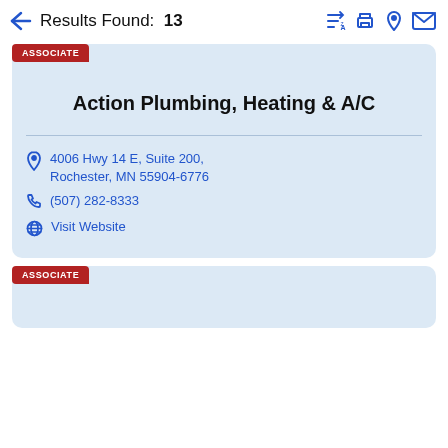Results Found: 13
ASSOCIATE
Action Plumbing, Heating & A/C
4006 Hwy 14 E, Suite 200, Rochester, MN 55904-6776
(507) 282-8333
Visit Website
ASSOCIATE